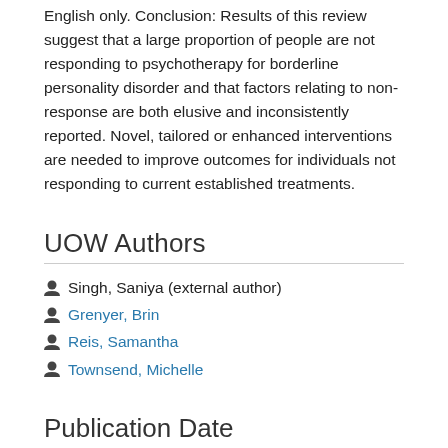English only. Conclusion: Results of this review suggest that a large proportion of people are not responding to psychotherapy for borderline personality disorder and that factors relating to non-response are both elusive and inconsistently reported. Novel, tailored or enhanced interventions are needed to improve outcomes for individuals not responding to current established treatments.
UOW Authors
Singh, Saniya (external author)
Grenyer, Brin
Reis, Samantha
Townsend, Michelle
Publication Date